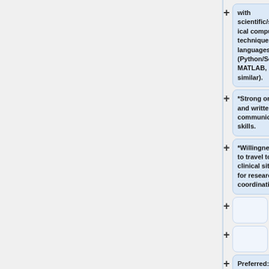with scientific/statistical computing techniques and languages (Python/SciPy, MATLAB, R, or similar).
*Strong oral and written communication skills.
*Willingness to travel to clinical sites for research coordination.
Preferred: